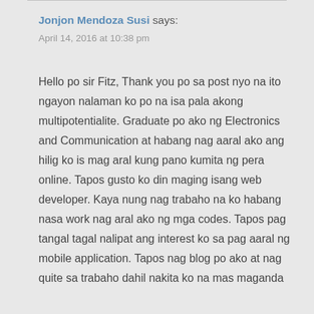Jonjon Mendoza Susi says:
April 14, 2016 at 10:38 pm
Hello po sir Fitz, Thank you po sa post nyo na ito ngayon nalaman ko po na isa pala akong multipotentialite. Graduate po ako ng Electronics and Communication at habang nag aaral ako ang hilig ko is mag aral kung pano kumita ng pera online. Tapos gusto ko din maging isang web developer. Kaya nung nag trabaho na ko habang nasa work nag aral ako ng mga codes. Tapos pag tangal tagal nalipat ang interest ko sa pag aaral ng mobile application. Tapos nag blog po ako at nag quite sa trabaho dahil nakita ko na mas maganda